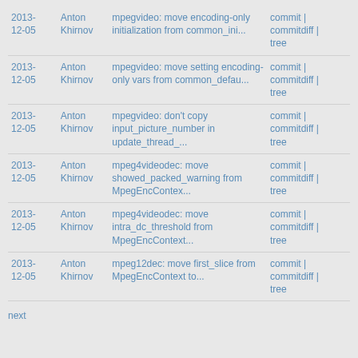| Date | Author | Message | Links |
| --- | --- | --- | --- |
| 2013-12-05 | Anton Khirnov | mpegvideo: move encoding-only initialization from common_ini... | commit | commitdiff | tree |
| 2013-12-05 | Anton Khirnov | mpegvideo: move setting encoding-only vars from common_defau... | commit | commitdiff | tree |
| 2013-12-05 | Anton Khirnov | mpegvideo: don't copy input_picture_number in update_thread_... | commit | commitdiff | tree |
| 2013-12-05 | Anton Khirnov | mpeg4videodec: move showed_packed_warning from MpegEncContex... | commit | commitdiff | tree |
| 2013-12-05 | Anton Khirnov | mpeg4videodec: move intra_dc_threshold from MpegEncContext... | commit | commitdiff | tree |
| 2013-12-05 | Anton Khirnov | mpeg12dec: move first_slice from MpegEncContext to... | commit | commitdiff | tree |
next